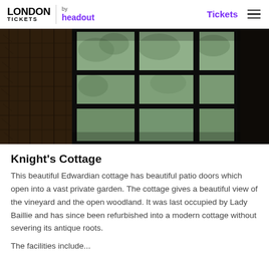LONDON TICKETS by headout — Tickets
[Figure (photo): Interior dark room with large multi-pane windows looking out onto trees and woodland. Left side shows a textured stone or brick wall in shadow. The windows have thick dark frames with multiple panes of glass showing a grey/green woodland scene outside.]
Knight's Cottage
This beautiful Edwardian cottage has beautiful patio doors which open into a vast private garden. The cottage gives a beautiful view of the vineyard and the open woodland. It was last occupied by Lady Baillie and has since been refurbished into a modern cottage without severing its antique roots.
The facilities include...